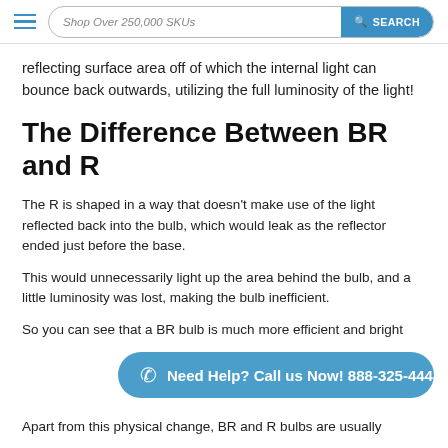Shop Over 250,000 SKUs  SEARCH
reflecting surface area off of which the internal light can bounce back outwards, utilizing the full luminosity of the light!
The Difference Between BR and R
The R is shaped in a way that doesn't make use of the light reflected back into the bulb, which would leak as the reflector ended just before the base.
This would unnecessarily light up the area behind the bulb, and a little luminosity was lost, making the bulb inefficient.
So you can see that a BR bulb is much more efficient and bright
Need Help? Call us Now! 888-325-4448
Apart from this physical change, BR and R bulbs are usually